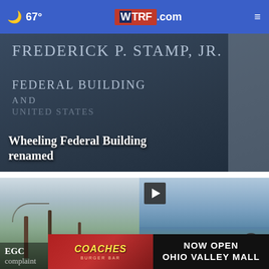67° WTRF.com ☰
[Figure (photo): Sign reading FREDERICK P. STAMP, JR. FEDERAL BUILDING AND UNITED STATES on dark background, with title overlay: Wheeling Federal Building renamed]
Wheeling Federal Building renamed
[Figure (photo): Outdoor scene with bare trees in winter, blurred background]
EGC complaint
[Figure (photo): River scene with boats, green hills in background, play button overlay, close X button]
Vintage
[Figure (other): Advertisement: Coaches Burger Bar - Now Open Ohio Valley Mall]